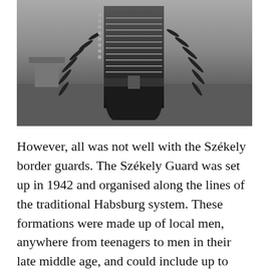[Figure (photo): Black and white historical photograph showing the back of a person in elaborate traditional/military costume with decorative armor or structured garment featuring horizontal ribbing and ornamental feathered or spiked elements on the sides.]
However, all was not well with the Székely border guards. The Székely Guard was set up in 1942 and organised along the lines of the traditional Habsburg system. These formations were made up of local men, anywhere from teenagers to men in their late middle age, and could include up to three generations of one family. Training and equipment were poor, and